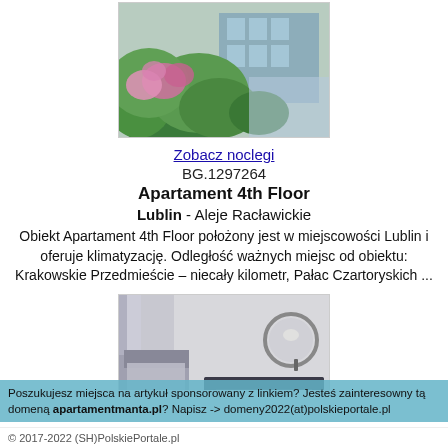[Figure (photo): Exterior photo of Apartament 4th Floor building with lush flowering plants (pink hydrangeas, green foliage) in the foreground and a modern glass building in the background]
Zobacz noclegi
BG.1297264
Apartament 4th Floor
Lublin - Aleje Racławickie
Obiekt Apartament 4th Floor położony jest w miejscowości Lublin i oferuje klimatyzację. Odległość ważnych miejsc od obiektu: Krakowskie Przedmieście – niecały kilometr, Pałac Czartoryskich ...
[Figure (photo): Interior photo of a modern apartment room with a bed on the left, large grey curtains, a dark grey sofa, round wooden coffee tables, and a circular mirror on the wall]
Zobacz noclegi
Apartamenty Sielska 1a/c
Poszukujesz miejsca na artykuł sponsorowany z linkiem? Jesteś zainteresowny tą domeną apartamentmanta.pl? Napisz -> domeny2022(at)polskieportale.pl
© 2017-2022 (SH)PolskiePortale.pl